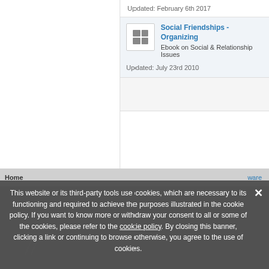Updated: February 6th 2017
Social Friendships - Organizing
Ebook on Social & Relationship Issues
Updated: July 23rd 2010
Home ... ware
This website or its third-party tools use cookies, which are necessary to its functioning and required to achieve the purposes illustrated in the cookie policy. If you want to know more or withdraw your consent to all or some of the cookies, please refer to the cookie policy. By closing this banner, clicking a link or continuing to browse otherwise, you agree to the use of cookies.